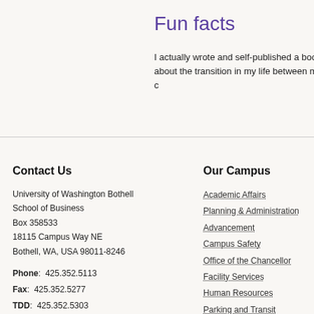Fun facts
I actually wrote and self-published a book about the transition in my life between my c
Contact Us
University of Washington Bothell
School of Business
Box 358533
18115 Campus Way NE
Bothell, WA, USA 98011-8246
Phone:  425.352.5113
Fax:  425.352.5277
TDD:  425.352.5303
Email:  uwbbusiness@uw.edu
Our Campus
Academic Affairs
Planning & Administration
Advancement
Campus Safety
Office of the Chancellor
Facility Services
Human Resources
Parking and Transit
Research Support